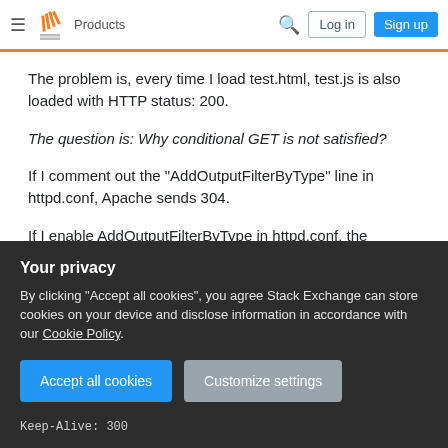≡  [Stack Overflow logo]  Products  🔍  Log in  Sign up
The problem is, every time I load test.html, test.js is also loaded with HTTP status: 200.
The question is: Why conditional GET is not satisfied?
If I comment out the "AddOutputFilterByType" line in httpd.conf, Apache sends 304.
If I enable AddOutputFilterByType in httpd.conf, the request header is: -
Your privacy
By clicking "Accept all cookies", you agree Stack Exchange can store cookies on your device and disclose information in accordance with our Cookie Policy.
Accept all cookies   Customize settings
Keep-Alive: 300